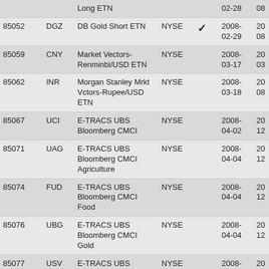| ID | Ticker | Name | Exchange | Flag | Date1 | Date2 |
| --- | --- | --- | --- | --- | --- | --- |
|  |  | Long ETN |  |  | 02-28 | 08 |
| 85052 | DGZ | DB Gold Short ETN | NYSE | ✓ | 2008-02-29 | 20 08 |
| 85059 | CNY | Market Vectors-Renminbi/USD ETN | NYSE |  | 2008-03-17 | 20 03 |
| 85062 | INR | Morgan Stanley Mrkt Vctors-Rupee/USD ETN | NYSE |  | 2008-03-18 | 20 08 |
| 85067 | UCI | E-TRACS UBS Bloomberg CMCI | NYSE |  | 2008-04-02 | 20 12 |
| 85071 | UAG | E-TRACS UBS Bloomberg CMCI Agriculture | NYSE |  | 2008-04-04 | 20 12 |
| 85074 | FUD | E-TRACS UBS Bloomberg CMCI Food | NYSE |  | 2008-04-04 | 20 12 |
| 85076 | UBG | E-TRACS UBS Bloomberg CMCI Gold | NYSE |  | 2008-04-04 | 20 12 |
| 85077 | USV | E-TRACS UBS | NYSE |  | 2008- | 20 |